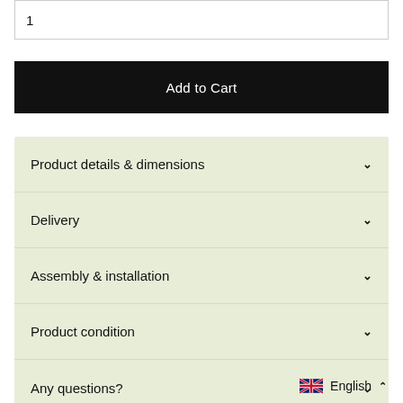1
Add to Cart
Product details & dimensions
Delivery
Assembly & installation
Product condition
Any questions?
English